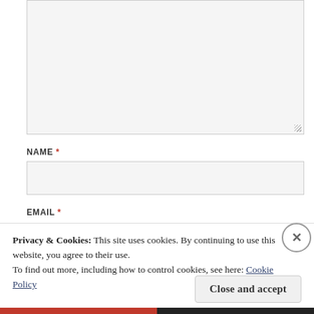[Figure (screenshot): Large text area input box with resize handle at bottom right, light gray background]
NAME *
[Figure (screenshot): Name text input field, light gray background]
EMAIL *
Privacy & Cookies: This site uses cookies. By continuing to use this website, you agree to their use.
To find out more, including how to control cookies, see here: Cookie Policy
Close and accept